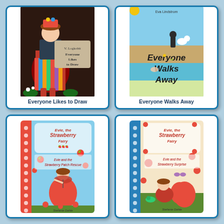[Figure (illustration): Book cover: Everyone Likes to Draw, featuring folk art illustration of a woman in colorful folk costume with flowers and plants]
Everyone Likes to Draw
[Figure (illustration): Book cover: Everyone Walks Away by Eva Lindstrom, illustrated children's book with colorful abstract figures]
Everyone Walks Away
[Figure (illustration): Book cover: Evie the Strawberry Fairy - Evie and the Strawberry Patch Rescue, showing a girl in red dress floating with an umbrella among strawberries]
[Figure (illustration): Book cover: Evie the Strawberry Fairy - Evie and the Strawberry Surprise by Stefanie Dahle, showing a girl sitting among strawberries]